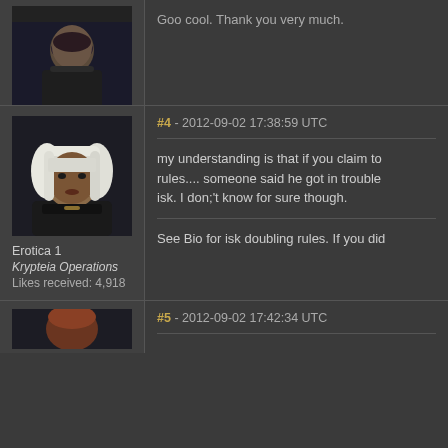[Figure (screenshot): Forum thread screenshot showing posts from an EVE Online game forum. Post #3 area (top), Post #4 from Erotica 1 of Krypteia Operations with avatar image, and beginning of Post #5.]
Avis Johnson
Cobalt Armada
Likes received: 0
#4 - 2012-09-02 17:38:59 UTC
my understanding is that if you claim to rules.... someone said he got in trouble isk. I don;'t know for sure though.
See Bio for isk doubling rules. If you did
Erotica 1
Krypteia Operations
Likes received: 4,918
#5 - 2012-09-02 17:42:34 UTC